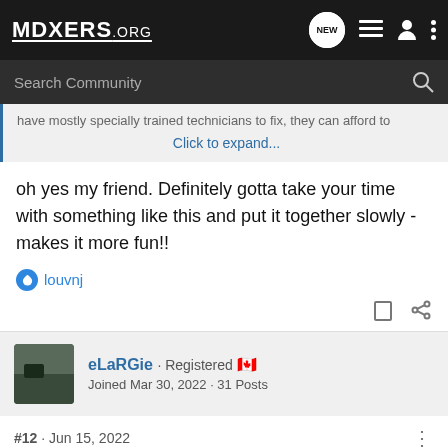MDXERS.ORG
Search Community
have mostly specially trained technicians to fix, they can afford to
Click to expand...
oh yes my friend. Definitely gotta take your time with something like this and put it together slowly - makes it more fun!!
louvnj
eLaRGie · Registered
Joined Mar 30, 2022 · 31 Posts
#12 · Jun 15, 2022
ok i can see u got both on the dash next to the climate control, both on the center console (shifter console) and four for all 4